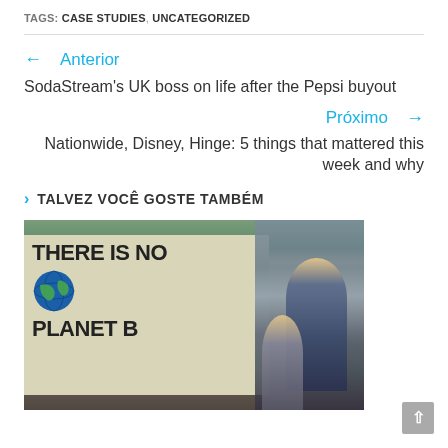TAGS: CASE STUDIES, UNCATEGORIZED
← Anterior
SodaStream's UK boss on life after the Pepsi buyout
Próximo →
Nationwide, Disney, Hinge: 5 things that mattered this week and why
TALVEZ VOCÊ GOSTE TAMBÉM
[Figure (photo): Protest crowd with a sign reading THERE IS NO PLANET B with a globe illustration, people including a child on someone's shoulders in the background]